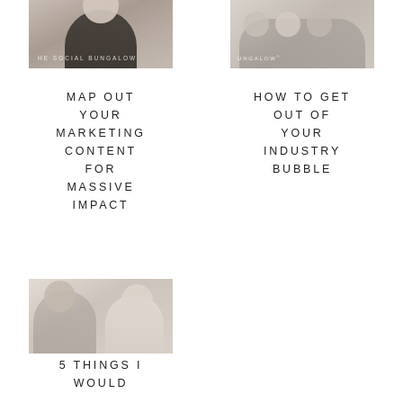[Figure (photo): Woman sitting on floor against a light wall with plants, wearing black top and jeans. THE SOCIAL BUNGALOW watermark overlay.]
[Figure (photo): Group of women sitting together in a bright room with large windows. THE SOCIAL BUNGALOW registered trademark watermark overlay.]
MAP OUT YOUR MARKETING CONTENT FOR MASSIVE IMPACT
HOW TO GET OUT OF YOUR INDUSTRY BUBBLE
[Figure (photo): Two women sitting across from each other on a light-colored couch, having a conversation.]
5 THINGS I WOULD